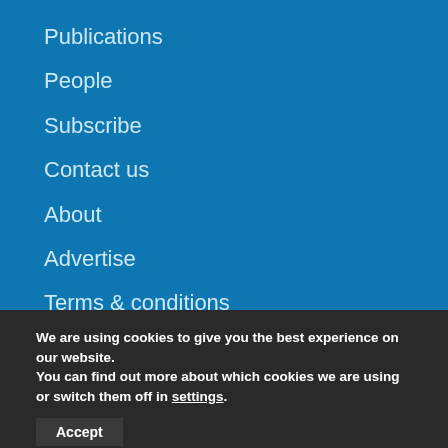Publications
People
Subscribe
Contact us
About
Advertise
Terms & conditions
We are using cookies to give you the best experience on our website.
You can find out more about which cookies we are using or switch them off in settings.
Accept